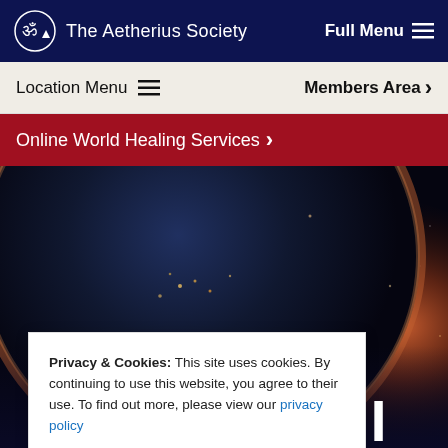The Aetherius Society   Full Menu ≡
Location Menu ≡   Members Area ›
Online World Healing Services ›
[Figure (screenshot): Hero image of Earth/planet from space with glowing atmosphere against dark starry background, with partial text visible at bottom right reading 't II' in large bold white font]
Privacy & Cookies: This site uses cookies. By continuing to use this website, you agree to their use. To find out more, please view our privacy policy
CLOSE